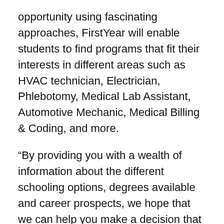opportunity using fascinating approaches, FirstYear will enable students to find programs that fit their interests in different areas such as HVAC technician, Electrician, Phlebotomy, Medical Lab Assistant, Automotive Mechanic, Medical Billing & Coding, and more.
“By providing you with a wealth of information about the different schooling options, degrees available and career prospects, we hope that we can help you make a decision that leads you to a rewarding and fulfilling career, explained First Year team. So before you decide to enroll at a school of any type, be sure to check out the resources available on our website.”